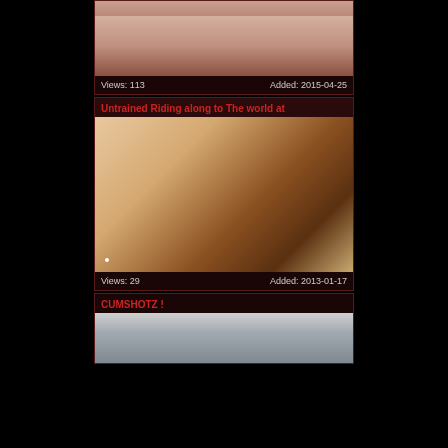[Figure (photo): Partial video thumbnail at top of page]
Views: 113    Added: 2015-04-25
Untrained Riding along to The world at
[Figure (photo): Video thumbnail showing blurred scene]
Views: 29    Added: 2013-01-17
CUMSHOTZ !
[Figure (photo): Partial video thumbnail at bottom of page]